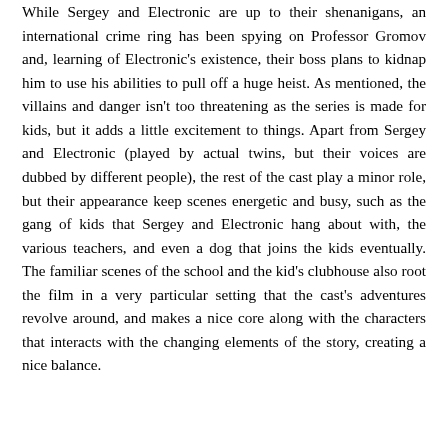While Sergey and Electronic are up to their shenanigans, an international crime ring has been spying on Professor Gromov and, learning of Electronic's existence, their boss plans to kidnap him to use his abilities to pull off a huge heist. As mentioned, the villains and danger isn't too threatening as the series is made for kids, but it adds a little excitement to things. Apart from Sergey and Electronic (played by actual twins, but their voices are dubbed by different people), the rest of the cast play a minor role, but their appearance keep scenes energetic and busy, such as the gang of kids that Sergey and Electronic hang about with, the various teachers, and even a dog that joins the kids eventually. The familiar scenes of the school and the kid's clubhouse also root the film in a very particular setting that the cast's adventures revolve around, and makes a nice core along with the characters that interacts with the changing elements of the story, creating a nice balance.